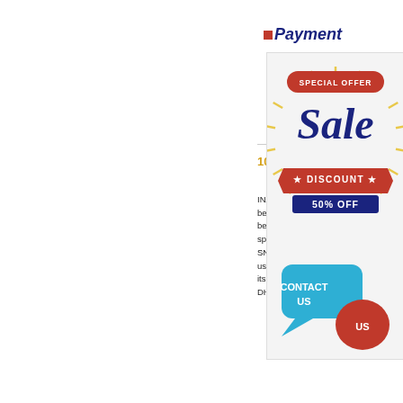Payment
100%
INA/FAG 22215H of NSK Iron, Sta bearing i Technolo Georgia. bearing replacement at difficult to sphericalOffer NSK General Bear SNV230-L+222SM115-TVPA.O from us, At the same time to prov details of its properties, wee to in TVPA + DHV526　FAGSN
[Figure (infographic): Special Offer Sale Discount 50% OFF advertisement overlay with Contact Us button]